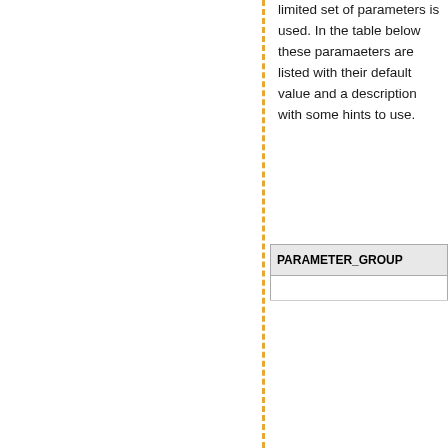limited set of parameters is used. In the table below these paramaeters are listed with their default value and a description with some hints to use.
| PARAMETER_GROUP |
| --- |
|  |